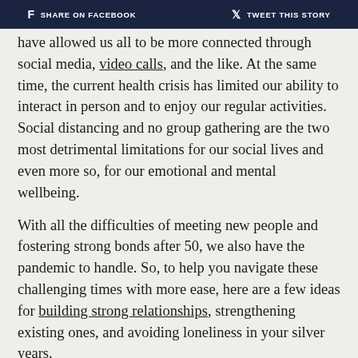f  SHARE ON FACEBOOK    TWEET THIS STORY
have allowed us all to be more connected through social media, video calls, and the like. At the same time, the current health crisis has limited our ability to interact in person and to enjoy our regular activities. Social distancing and no group gathering are the two most detrimental limitations for our social lives and even more so, for our emotional and mental wellbeing.

With all the difficulties of meeting new people and fostering strong bonds after 50, we also have the pandemic to handle. So, to help you navigate these challenging times with more ease, here are a few ideas for building strong relationships, strengthening existing ones, and avoiding loneliness in your silver years.
Reconnect with old friends on social
Social networks such as Facebook are a goldmine of opportunities to find old friends from school and